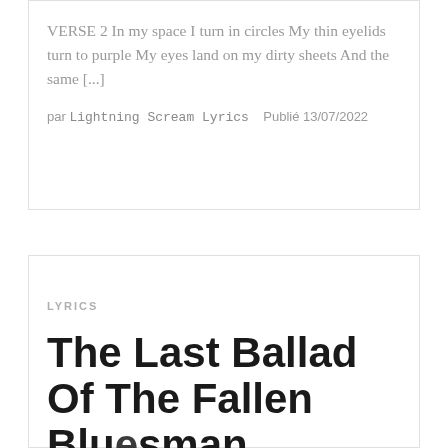VERSE 2 In my space I turn in circles My thin eyelids turn to purple My eyes land on my dirty sheets And the same [...]
par Lightning Scream Lyrics   Publié 13/07/2022
LYRICS
The Last Ballad Of The Fallen Bluesman